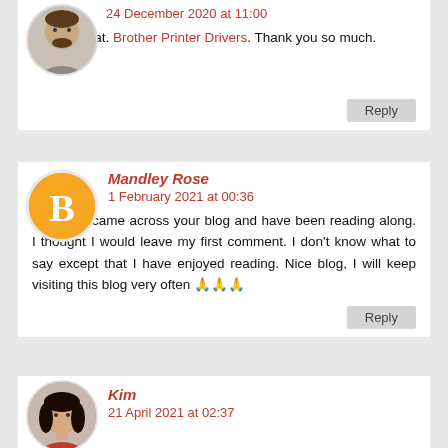24 December 2020 at 11:00
This is great. Brother Printer Drivers. Thank you so much.
Reply
Mandley Rose
1 February 2021 at 00:36
I recently came across your blog and have been reading along. I thought I would leave my first comment. I don't know what to say except that I have enjoyed reading. Nice blog, I will keep visiting this blog very often 🙏🙏🙏
Reply
Kim
21 April 2021 at 02:37